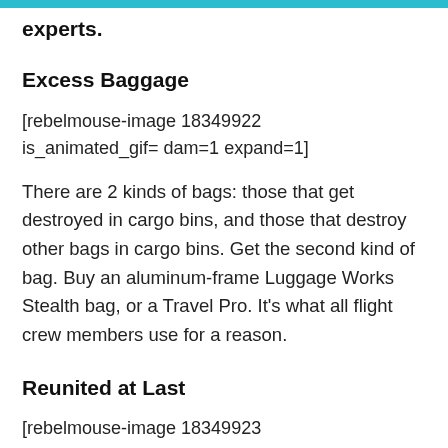experts.
Excess Baggage
[rebelmouse-image 18349922 is_animated_gif= dam=1 expand=1]
There are 2 kinds of bags: those that get destroyed in cargo bins, and those that destroy other bags in cargo bins. Get the second kind of bag. Buy an aluminum-frame Luggage Works Stealth bag, or a Travel Pro. It's what all flight crew members use for a reason.
Reunited at Last
[rebelmouse-image 18349923 is_animated_gif= dam=1 expand=1]